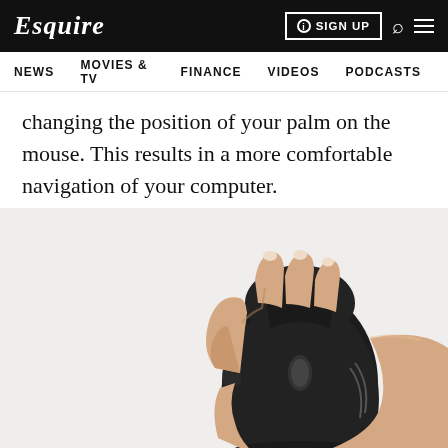Esquire | NEWS  MOVIES & TV  FINANCE  VIDEOS  PODCASTS
changing the position of your palm on the mouse. This results in a more comfortable navigation of your computer.
[Figure (photo): A hand gripping a black vertical ergonomic computer mouse from the side, showing the handshake-style grip orientation.]